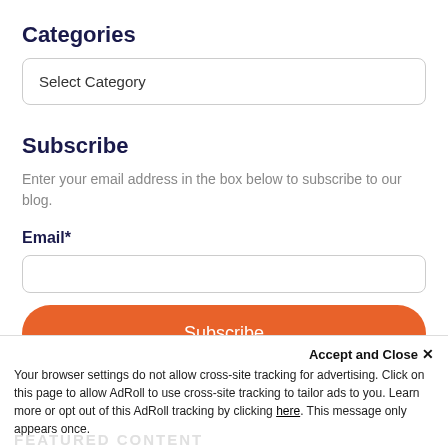Categories
Select Category
Subscribe
Enter your email address in the box below to subscribe to our blog.
Email*
Subscribe
Accept and Close ✕
Your browser settings do not allow cross-site tracking for advertising. Click on this page to allow AdRoll to use cross-site tracking to tailor ads to you. Learn more or opt out of this AdRoll tracking by clicking here. This message only appears once.